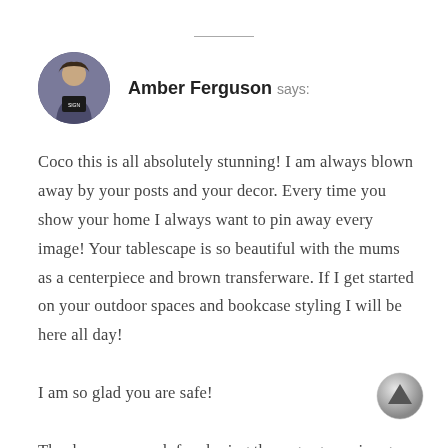[Figure (illustration): Circular avatar photo of Amber Ferguson, a woman holding a chalkboard sign, dark background]
Amber Ferguson says:
Coco this is all absolutely stunning! I am always blown away by your posts and your decor. Every time you show your home I always want to pin away every image! Your tablescape is so beautiful with the mums as a centerpiece and brown transferware. If I get started on your outdoor spaces and bookcase styling I will be here all day!

I am so glad you are safe!

Thank you so much for sharing these gorgeous images and great fall decorating ideas.